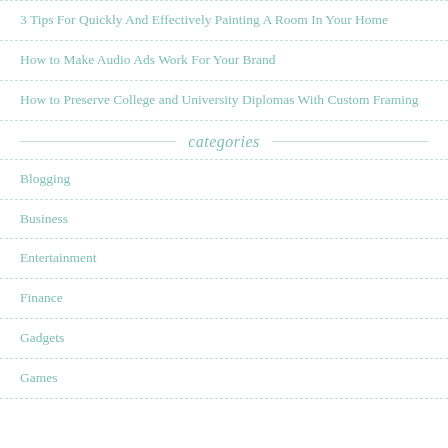3 Tips For Quickly And Effectively Painting A Room In Your Home
How to Make Audio Ads Work For Your Brand
How to Preserve College and University Diplomas With Custom Framing
categories
Blogging
Business
Entertainment
Finance
Gadgets
Games